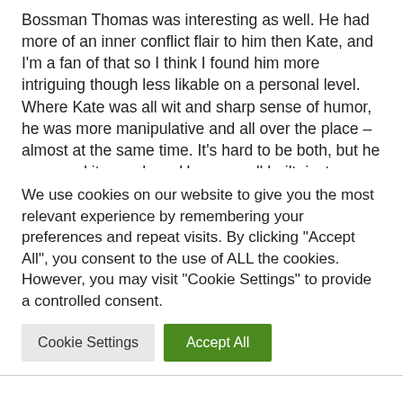Bossman Thomas was interesting as well. He had more of an inner conflict flair to him then Kate, and I'm a fan of that so I think I found him more intriguing though less likable on a personal level. Where Kate was all wit and sharp sense of humor, he was more manipulative and all over the place – almost at the same time. It's hard to be both, but he managed it somehow. He was well built, just as Kate. Their romance arc was interesting, that kind of opposites attract sort of vibe to them. Awesome chemistry, and their one on one time was pretty hot-looking though we weren't included in the actual action there.
We use cookies on our website to give you the most relevant experience by remembering your preferences and repeat visits. By clicking "Accept All", you consent to the use of ALL the cookies. However, you may visit "Cookie Settings" to provide a controlled consent.